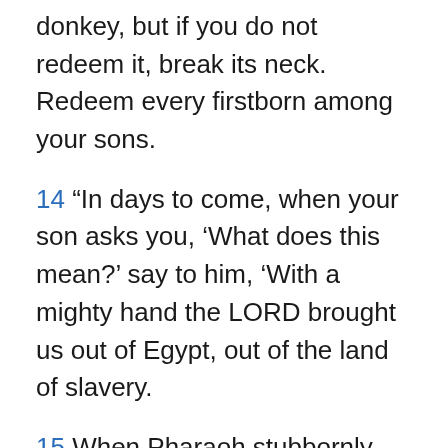donkey, but if you do not redeem it, break its neck. Redeem every firstborn among your sons.
14 “In days to come, when your son asks you, ‘What does this mean?’ say to him, ‘With a mighty hand the LORD brought us out of Egypt, out of the land of slavery.
15 When Pharaoh stubbornly refused to let us go, the LORD killed the firstborn of both people and animals in Egypt. This is why I sacrifice to the LORD the first male offspring of every womb and